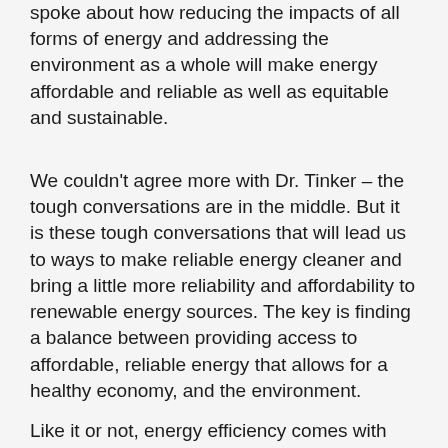spoke about how reducing the impacts of all forms of energy and addressing the environment as a whole will make energy affordable and reliable as well as equitable and sustainable.
We couldn't agree more with Dr. Tinker – the tough conversations are in the middle. But it is these tough conversations that will lead us to ways to make reliable energy cleaner and bring a little more reliability and affordability to renewable energy sources. The key is finding a balance between providing access to affordable, reliable energy that allows for a healthy economy, and the environment.
Like it or not, energy efficiency comes with